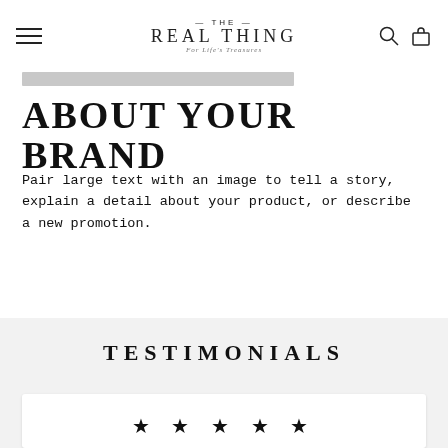THE REAL THING — For Life's Treasures
ABOUT YOUR BRAND
Pair large text with an image to tell a story, explain a detail about your product, or describe a new promotion.
TESTIMONIALS
★ ★ ★ ★ ★
Add customer reviews and testimonials to showcase